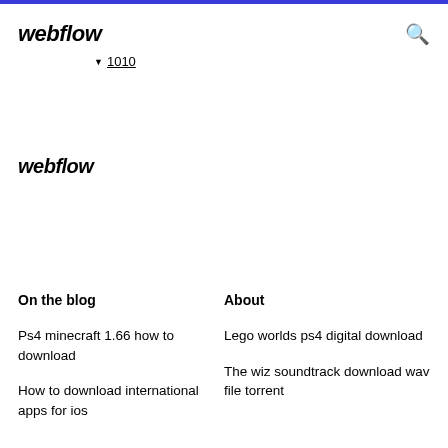webflow
1010
webflow
On the blog
About
Ps4 minecraft 1.66 how to download
Lego worlds ps4 digital download
How to download international apps for ios
The wiz soundtrack download wav file torrent